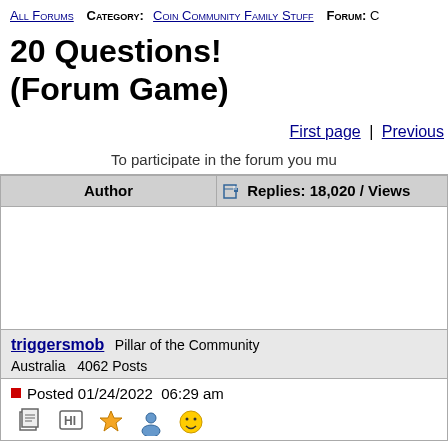All Forums  Category: Coin Community Family Stuff  Forum: [truncated]
20 Questions! (Forum Game)
First page | Previous
To participate in the forum you mu...
| Author | 🗐 Replies: 18,020 / Views |
| --- | --- |
|  |  |
| triggersmob  Pillar of the Community
Australia  4062 Posts |  |
| Posted 01/24/2022  06:29 am |  |